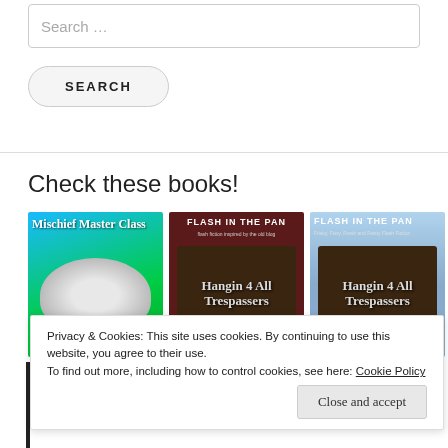Search …
SEARCH
Check these books!
[Figure (photo): Three book covers: 'Mischief Master Class' with cartoon dog, and two editions of 'Flash in the Pan' with Hangin 4 All Trespassers sign]
Privacy & Cookies: This site uses cookies. By continuing to use this website, you agree to their use.
To find out more, including how to control cookies, see here: Cookie Policy
Close and accept